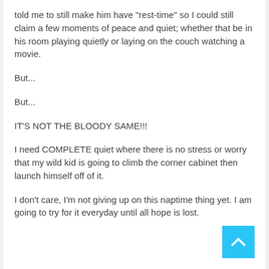told me to still make him have "rest-time" so I could still claim a few moments of peace and quiet; whether that be in his room playing quietly or laying on the couch watching a movie.
But...
But...
IT'S NOT THE BLOODY SAME!!!
I need COMPLETE quiet where there is no stress or worry that my wild kid is going to climb the corner cabinet then launch himself off of it.
I don't care, I'm not giving up on this naptime thing yet. I am going to try for it everyday until all hope is lost.
[Figure (other): A cyan/blue scroll-to-top button with a white upward chevron arrow in the bottom-right corner]